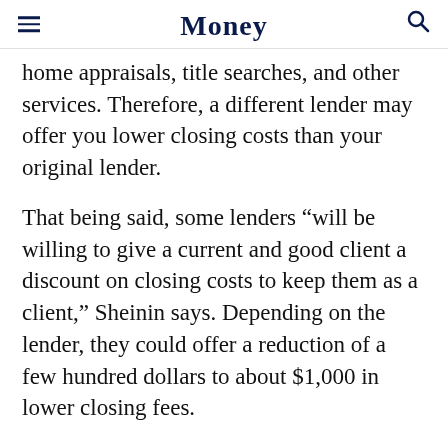Money
home appraisals, title searches, and other services. Therefore, a different lender may offer you lower closing costs than your original lender.
That being said, some lenders “will be willing to give a current and good client a discount on closing costs to keep them as a client,” Sheinin says. Depending on the lender, they could offer a reduction of a few hundred dollars to about $1,000 in lower closing fees.
One caveat: “I always tell people to be